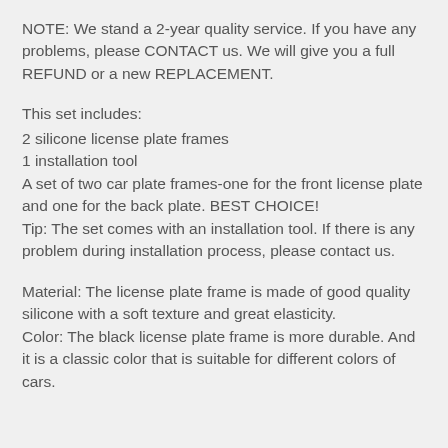NOTE: We stand a 2-year quality service. If you have any problems, please CONTACT us. We will give you a full REFUND or a new REPLACEMENT.
This set includes:
2 silicone license plate frames
1 installation tool
A set of two car plate frames-one for the front license plate and one for the back plate. BEST CHOICE!
Tip: The set comes with an installation tool. If there is any problem during installation process, please contact us.
Material: The license plate frame is made of good quality silicone with a soft texture and great elasticity.
Color: The black license plate frame is more durable. And it is a classic color that is suitable for different colors of cars.